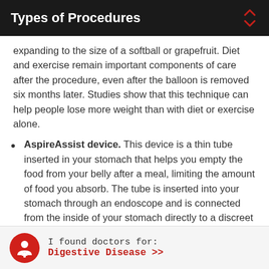Types of Procedures
expanding to the size of a softball or grapefruit. Diet and exercise remain important components of care after the procedure, even after the balloon is removed six months later. Studies show that this technique can help people lose more weight than with diet or exercise alone.
AspireAssist device. This device is a thin tube inserted in your stomach that helps you empty the food from your belly after a meal, limiting the amount of food you absorb. The tube is inserted into your stomach through an endoscope and is connected from the inside of your stomach directly to a discreet button on the outside of your abdomen. The tube and device combination is attached when the "emptying" process begins. The entire
I found doctors for:
Digestive Disease >>